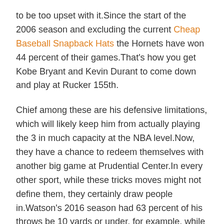to be too upset with it.Since the start of the 2006 season and excluding the current Cheap Baseball Snapback Hats the Hornets have won 44 percent of their games.That's how you get Kobe Bryant and Kevin Durant to come down and play at Rucker 155th.
Chief among these are his defensive limitations, which will likely keep him from actually playing the 3 in much capacity at the NBA level.Now, they have a chance to redeem themselves with another big game at Prudential Center.In every other sport, while these tricks moves might not define them, they certainly draw people in.Watson's 2016 season had 63 percent of his throws be 10 yards or under, for example, while Lawrence has that same exact rate this season so far.Through 30 games, Brown has been averaging 5 spot-up custom basketball jerseys per game, second-most in the NBA behind Taurean Prince.